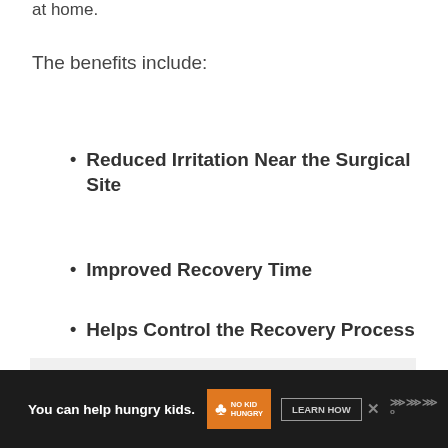at home.
The benefits include:
Reduced Irritation Near the Surgical Site
Improved Recovery Time
Helps Control the Recovery Process
[Figure (other): Gray advertisement placeholder box]
You can help hungry kids. NO KID HUNGRY LEARN HOW